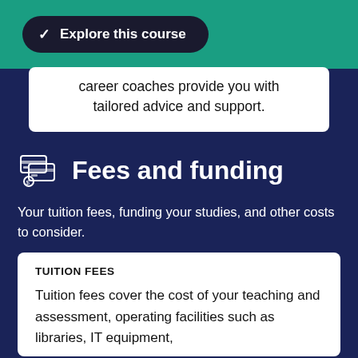Explore this course
career coaches provide you with tailored advice and support.
Fees and funding
Your tuition fees, funding your studies, and other costs to consider.
TUITION FEES
Tuition fees cover the cost of your teaching and assessment, operating facilities such as libraries, IT equipment,